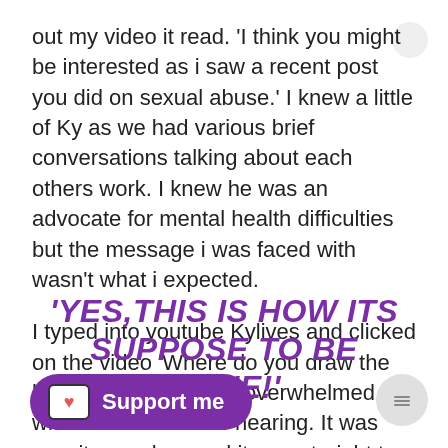out my video it read. 'I think you might be interested as i saw a recent post you did on sexual abuse.' I knew a little of Ky as we had various brief conversations talking about each others work. I knew he was an advocate for mental health difficulties but the message i was faced with wasn't what i expected.
I typed into youtube Kylives and clicked on the video 'Where do you draw the line' i was completely overwhelmed with the words i was hearing. It was raw, it was clear and it was straight to the point. My head instantly said
'YES,THIS IS HOW ITS SUPPOSE TO BE DONE!'
[Figure (other): Ko-fi Support me button — purple rounded rectangle with Ko-fi cup icon and 'Support me' text in white]